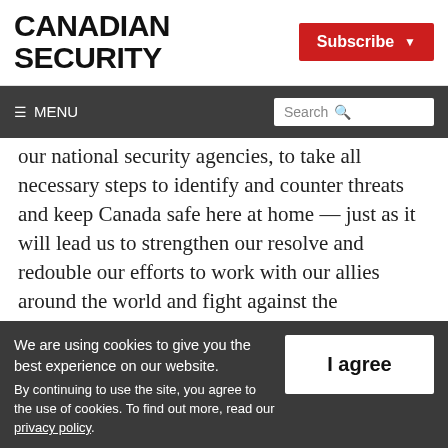CANADIAN SECURITY
Subscribe
≡ MENU  Search
our national security agencies, to take all necessary steps to identify and counter threats and keep Canada safe here at home — just as it will lead us to strengthen our resolve and redouble our efforts to work with our allies around the world and fight against the
We are using cookies to give you the best experience on our website.
By continuing to use the site, you agree to the use of cookies. To find out more, read our privacy policy.
I agree